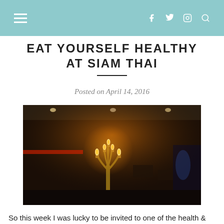☰  f  🐦  📷  🔍
EAT YOURSELF HEALTHY AT SIAM THAI
Posted on April 14, 2016
[Figure (photo): Interior of Siam Thai restaurant showing a lit gold candelabra with candles in a dimly lit dining room]
So this week I was lucky to be invited to one of the health & nutrition talks currently running in Siam Thai's two Dublin restaurants in Dundrum and Malahide. I have wanted to go to their Dundrum